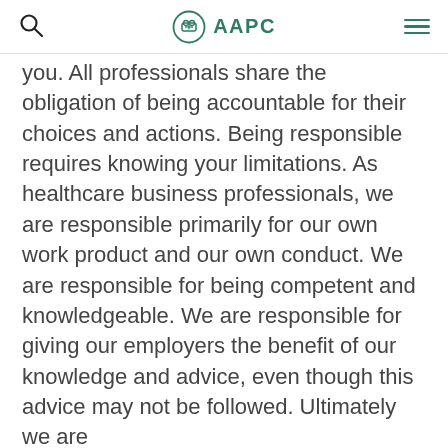AAPC
you. All professionals share the obligation of being accountable for their choices and actions. Being responsible requires knowing your limitations. As healthcare business professionals, we are responsible primarily for our own work product and our own conduct. We are responsible for being competent and knowledgeable. We are responsible for giving our employers the benefit of our knowledge and advice, even though this advice may not be followed. Ultimately we are